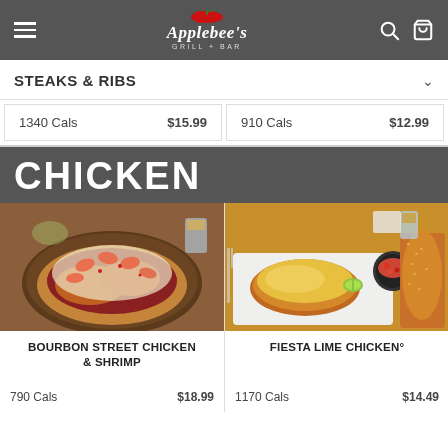Applebee's Grill + Bar
STEAKS & RIBS
1340 Cals   $15.99
910 Cals   $12.99
CHICKEN
[Figure (photo): Bourbon Street Chicken & Shrimp dish photo - chicken topped with shrimp in tomato sauce]
BOURBON STREET CHICKEN & SHRIMP
790 Cals   $18.99
[Figure (photo): Fiesta Lime Chicken dish photo - chicken with melted cheese and lime, served with rice and salsa]
FIESTA LIME CHICKEN°
1170 Cals   $14.49